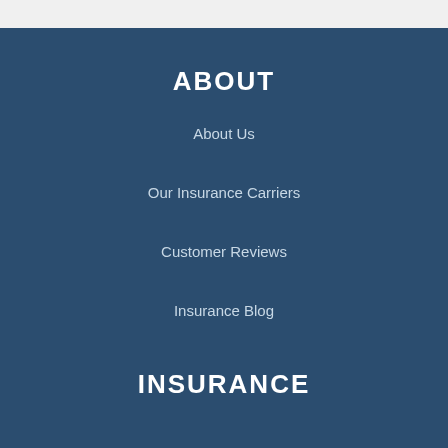ABOUT
About Us
Our Insurance Carriers
Customer Reviews
Insurance Blog
INSURANCE